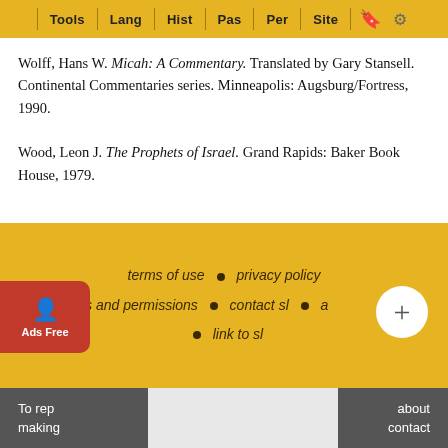Tools | Lang | Hist | Pas | Per | Site
Wolff, Hans W. Micah: A Commentary. Translated by Gary Stansell. Continental Commentaries series. Minneapolis: Augsburg/Fortress, 1990.
Wood, Leon J. The Prophets of Israel. Grand Rapids: Baker Book House, 1979.
terms of use • privacy policy • rights and permissions • contact sl • a sl • link to sl
To rep... about making... contact